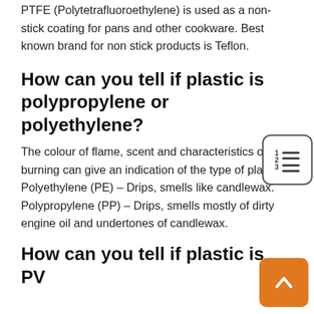PTFE (Polytetrafluoroethylene) is used as a non-stick coating for pans and other cookware. Best known brand for non stick products is Teflon.
How can you tell if plastic is polypropylene or polyethylene?
The colour of flame, scent and characteristics of burning can give an indication of the type of plastic. Polyethylene (PE) – Drips, smells like candlewax. Polypropylene (PP) – Drips, smells mostly of dirty engine oil and undertones of candlewax.
How can you tell if plastic is PV